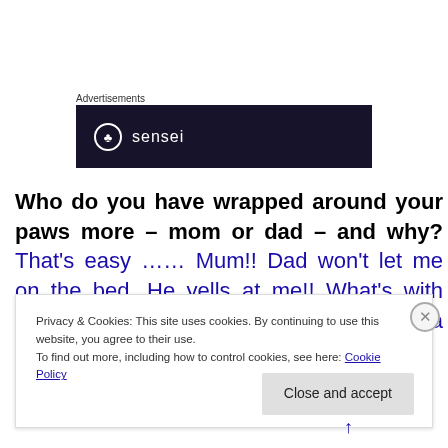Advertisements
[Figure (logo): Sensei brand advertisement banner: dark navy background with a white circle logo containing a tree/bonsai icon and the text 'sensei' in white lowercase letters]
Who do you have wrapped around your paws more – mom or dad – and why?  That's easy …… Mum!!  Dad won't let me on the bed.  He yells at me!!  What's with that??  I hate yellin'.  BUT if Mum's having a sleep in and
Privacy & Cookies: This site uses cookies. By continuing to use this website, you agree to their use.
To find out more, including how to control cookies, see here: Cookie Policy
Close and accept